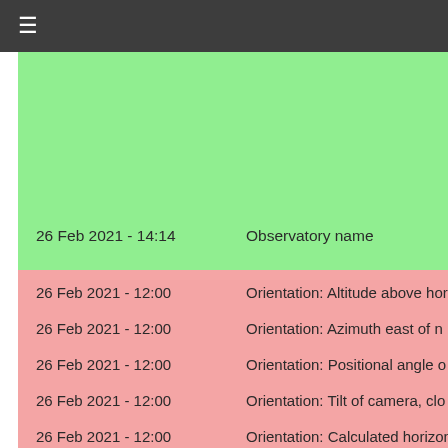≡
| Date/Time | Parameter |
| --- | --- |
| 26 Feb 2021 - 14:14 | Observatory name |
| 26 Feb 2021 - 12:00 | Orientation: Altitude above hor... |
| 26 Feb 2021 - 12:00 | Orientation: Azimuth east of n... |
| 26 Feb 2021 - 12:00 | Orientation: Positional angle o... |
| 26 Feb 2021 - 12:00 | Orientation: Tilt of camera, clo... |
| 26 Feb 2021 - 12:00 | Orientation: Calculated horizon... |
| 26 Feb 2021 - 12:00 | Orientation: Calculated vertica... |
| 26 Feb 2021 - 12:00 | Orientation: Uncertainty (deg)... |